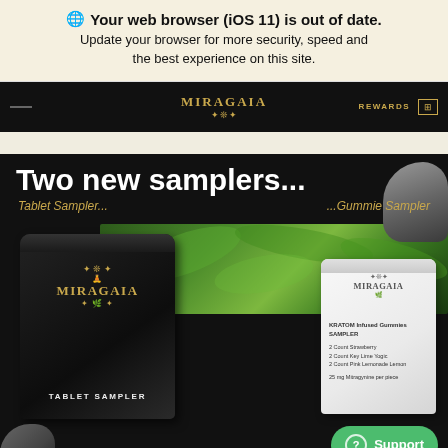🌐 Your web browser (iOS 11) is out of date. Update your browser for more security, speed and the best experience on this site.
[Figure (screenshot): MitraGaia navigation bar with logo in gold text on black background, REWARDS text and icon on right]
[Figure (photo): MitraGaia product promotional image showing two new samplers on black background with tropical foliage: a black bag labeled TABLET SAMPLER with gold MitraGaia logo, and a white bag labeled MitraGaia Gummie Sampler, with rocks and nature elements. Text reads 'Two new samplers...' with 'Tablet Sampler...' and '...Gummie Sampler' subtitles. A green Support button is visible in the bottom right.]